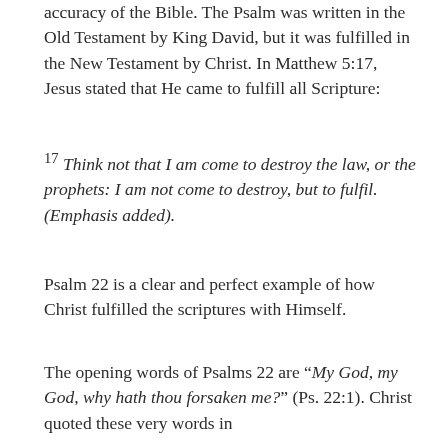accuracy of the Bible. The Psalm was written in the Old Testament by King David, but it was fulfilled in the New Testament by Christ. In Matthew 5:17, Jesus stated that He came to fulfill all Scripture:
17 Think not that I am come to destroy the law, or the prophets: I am not come to destroy, but to fulfil. (Emphasis added).
Psalm 22 is a clear and perfect example of how Christ fulfilled the scriptures with Himself.
The opening words of Psalms 22 are “My God, my God, why hath thou forsaken me?” (Ps. 22:1).  Christ quoted these very words in